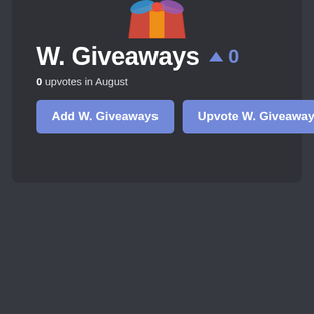[Figure (logo): Colorful gift box logo partially visible at top of card]
W. Giveaways ^ 0
0 upvotes in August
Add W. Giveaways
Upvote W. Giveaways